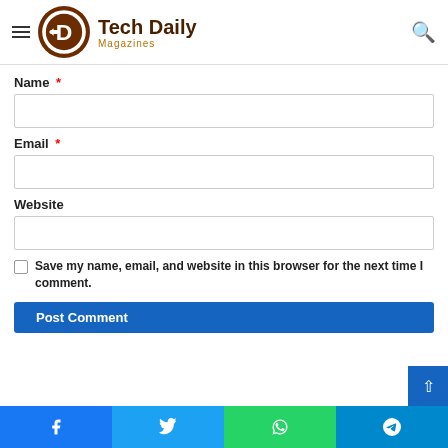Tech Daily Magazines
Name *
Email *
Website
Save my name, email, and website in this browser for the next time I comment.
Post Comment
Facebook | Twitter | WhatsApp | Telegram